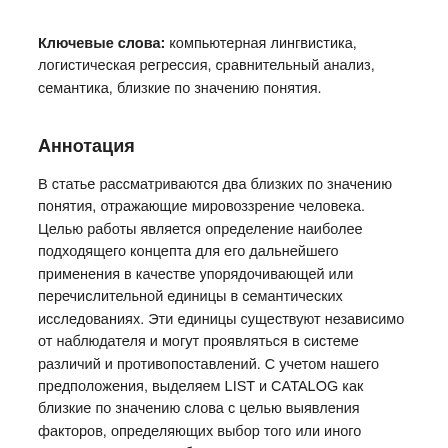Ключевые слова: компьютерная лингвистика, логистическая регрессия, сравнительный анализ, семантика, близкие по значению понятия.
Аннотация
В статье рассматриваются два близких по значению понятия, отражающие мировоззрение человека. Целью работы является определение наиболее подходящего концепта для его дальнейшего применения в качестве упорядочивающей или перечислительной единицы в семантических исследованиях. Эти единицы существуют независимо от наблюдателя и могут проявляться в системе различий и противопоставлений. С учетом нашего предположения, выделяем LIST и CATALOG как близкие по значению слова с целью выявления факторов, определяющих выбор того или иного концепта, исходя из объективных семантических критериев. С этой целью проводится предварительная разработка схемы